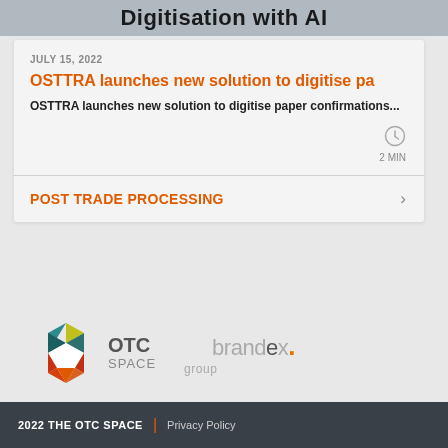[Figure (photo): Partial image strip showing 'Digitisation with AI' text on a dark/grey background photo]
JULY 15, 2022
OSTTRA launches new solution to digitise pa
OSTTRA launches new solution to digitise paper confirmations...
2 MIN
POST TRADE PROCESSING
[Figure (logo): OTC Space logo with colorful hexagon icon and 'OTC SPACE' text, followed by 'brandex. group' logo]
2022 THE OTC SPACE | Privacy Policy